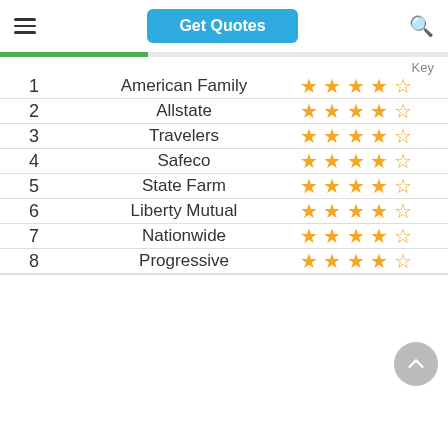Get Quotes
| # | Company | Rating |
| --- | --- | --- |
| 1 | American Family | 4.5 stars |
| 2 | Allstate | 4.5 stars |
| 3 | Travelers | 4.5 stars |
| 4 | Safeco | 4.5 stars |
| 5 | State Farm | 4.5 stars |
| 6 | Liberty Mutual | 4.5 stars |
| 7 | Nationwide | 4.5 stars |
| 8 | Progressive | 4.5 stars |